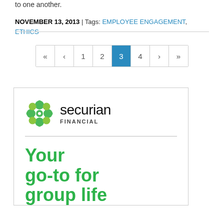to one another.
NOVEMBER 13, 2013 | Tags: EMPLOYEE ENGAGEMENT, ETHICS
[Figure (other): Pagination control showing pages 1 2 3 4 with page 3 active (highlighted in blue), and navigation arrows for first, previous, next, last]
[Figure (logo): Securian Financial advertisement with green flower logo, company name 'securian FINANCIAL', horizontal divider, and tagline 'Your go-to for group life' in large green bold text]